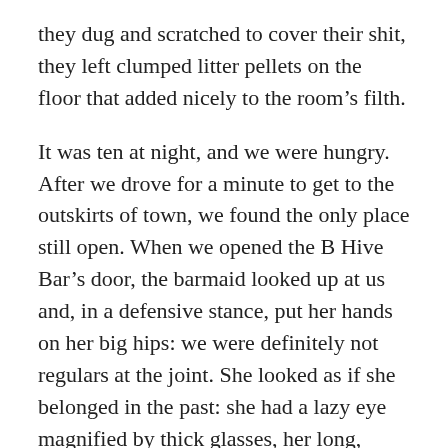they dug and scratched to cover their shit, they left clumped litter pellets on the floor that added nicely to the room's filth.
It was ten at night, and we were hungry. After we drove for a minute to get to the outskirts of town, we found the only place still open. When we opened the B Hive Bar's door, the barmaid looked up at us and, in a defensive stance, put her hands on her big hips: we were definitely not regulars at the joint. She looked as if she belonged in the past: she had a lazy eye magnified by thick glasses, her long, brown hair that reached below her butt was held with an acid-washed, denim scrunchy, and an oversized T-shirt hung over her worn, white jeans.
“Lemme see y’alls ID,” her voice was raspy and quick,